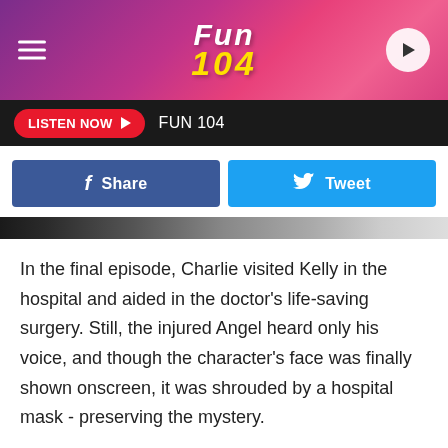[Figure (logo): Fun 104 radio station header banner with purple/pink gradient background, hamburger menu icon on left, Fun 104 logo in center (white italic Fun, yellow italic 104), play button circle on right]
LISTEN NOW ▶  FUN 104
[Figure (infographic): Social sharing buttons: blue Facebook Share button and light blue Twitter Tweet button]
[Figure (photo): Partial image strip showing a cropped photo]
In the final episode, Charlie visited Kelly in the hospital and aided in the doctor's life-saving surgery. Still, the injured Angel heard only his voice, and though the character's face was finally shown onscreen, it was shrouded by a hospital mask - preserving the mystery.
The real-life story behind Charlie was less secret. The character was voiced by actor John Forsythe, who agreed to the gig as a last-minute favor to the show's producer, Aaron Spelling. Forsythe recorded all of his lines separately, didn't